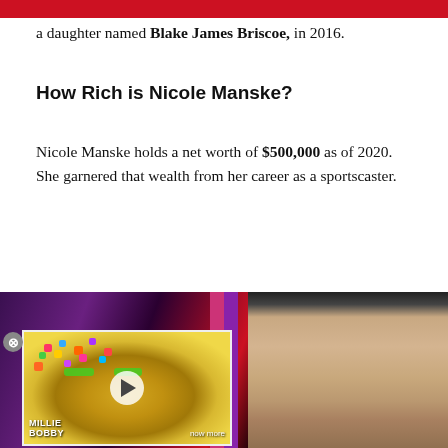a daughter named Blake James Briscoe, in 2016.
How Rich is Nicole Manske?
Nicole Manske holds a net worth of $500,000 as of 2020. She garnered that wealth from her career as a sportscaster.
[Figure (photo): Photo of Nicole Manske, a blonde woman, with an overlaid video thumbnail of a woman with colorful face gems. A close button and play button are visible on the video thumbnail. Text reads MILLIE BOBBY at the bottom of the thumbnail.]